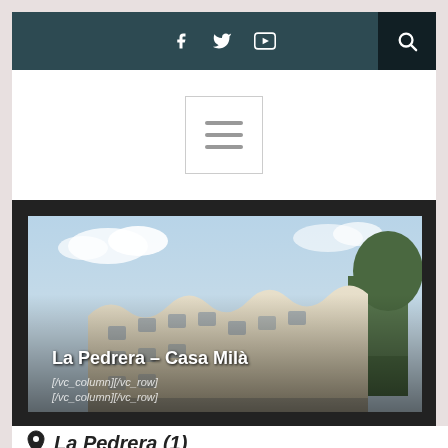Navigation bar with social icons (Facebook, Twitter, YouTube) and search button
[Figure (screenshot): Hamburger menu icon inside a bordered box, on white background]
[Figure (photo): Photo of La Pedrera - Casa Milà building in Barcelona by Gaudí, with wavy white stone facade and trees. Overlaid text reads: La Pedrera – Casa Milà and [/vc_column][/vc_row] [/vc_column][/vc_row]]
La Pedrera – Casa Milà
[/vc_column][/vc_row]
[/vc_column][/vc_row]
La Pedrera (1)